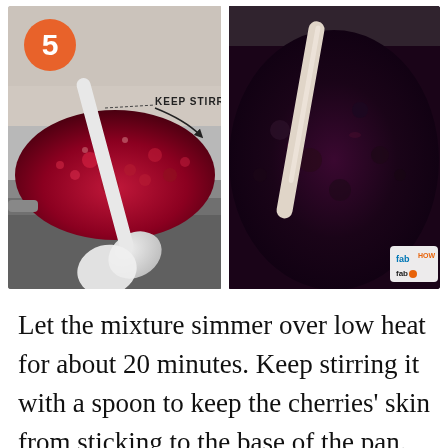[Figure (photo): Two side-by-side photos showing a cherry mixture being stirred in a pan. Left photo shows a white spoon stirring red cherry mixture in a shiny metal pan with text annotation 'KEEP STIRRING' and a step number '5' in an orange circle. Right photo shows a darker cooked-down cherry mixture with a white/pink spoon, and a 'fabHOW' watermark logo in the corner.]
Let the mixture simmer over low heat for about 20 minutes. Keep stirring it with a spoon to keep the cherries' skin from sticking to the base of the pan.